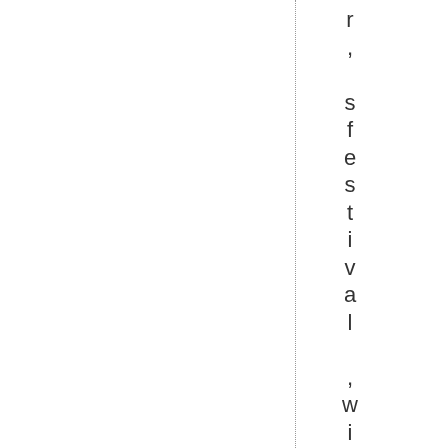r, sfestival ,with more local films